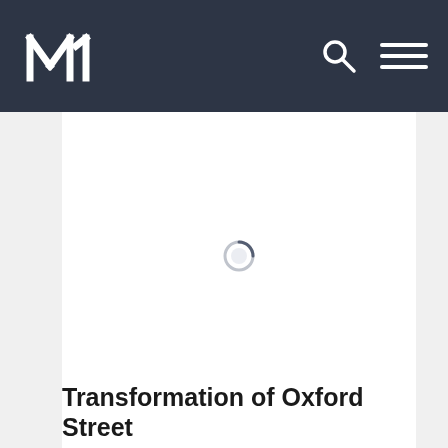MM logo navigation bar with search and menu icons
[Figure (screenshot): Loading spinner / placeholder image area — a circular loading indicator centered in a white content area]
Transformation of Oxford Street